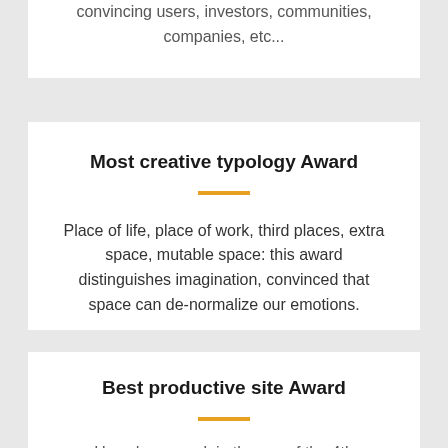convincing users, investors, communities, companies, etc...
Most creative typology Award
Place of life, place of work, third places, extra space, mutable space: this award distinguishes imagination, convinced that space can de-normalize our emotions.
Best productive site Award
How do we work in the era of the 4th industrial